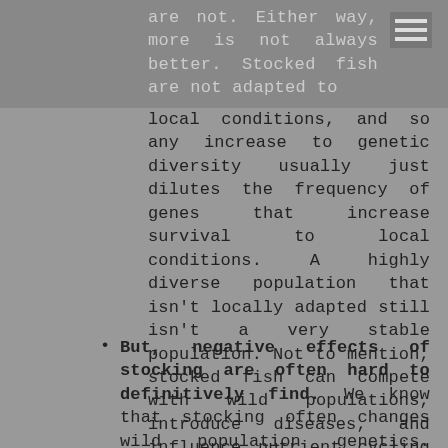are not. Either way, more is not always better. Stocked fish are not adapted to
local conditions, and so any increase to genetic diversity usually just dilutes the frequency of genes that increase survival to local conditions. A highly diverse population that isn’t locally adapted still isn’t a very stable population. Not to mention, stocked fish can compete with wild populations, introduce diseases, and influence nutrient cycling in aquatic and terrestrial ecosystems.
But, negative effects of stocking are often hard to definitively find. We know that stocking often changes wild population genetics. But, understanding how these changes influence survival, reproduction, and adaptive capacity is